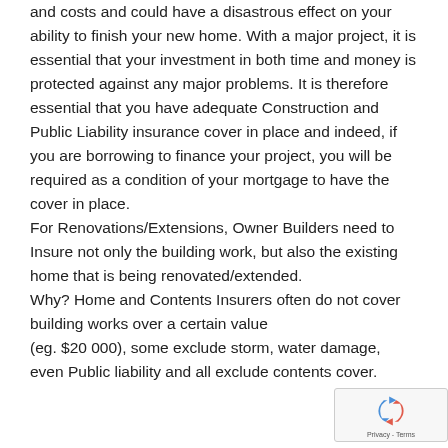and costs and could have a disastrous effect on your ability to finish your new home. With a major project, it is essential that your investment in both time and money is protected against any major problems. It is therefore essential that you have adequate Construction and Public Liability insurance cover in place and indeed, if you are borrowing to finance your project, you will be required as a condition of your mortgage to have the cover in place. For Renovations/Extensions, Owner Builders need to Insure not only the building work, but also the existing home that is being renovated/extended. Why? Home and Contents Insurers often do not cover building works over a certain value (eg. $20 000), some exclude storm, water damage, even Public liability and all exclude contents cover.
[Figure (logo): reCAPTCHA badge with rotating arrows logo and Privacy - Terms text]